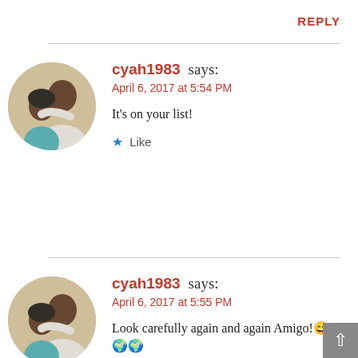REPLY
[Figure (photo): Circular avatar photo showing a couple hugging]
cyah1983 says:
April 6, 2017 at 5:54 PM
It's on your list!
★ Like
[Figure (photo): Circular avatar photo showing a couple hugging]
cyah1983 says:
April 6, 2017 at 5:55 PM
Look carefully again and again Amigo!😄🌍🌍